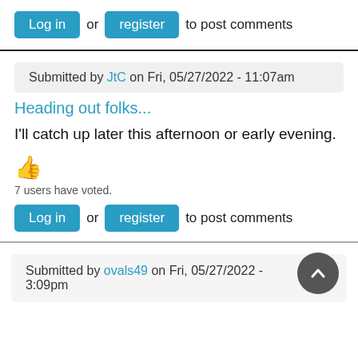Log in or register to post comments
Submitted by JtC on Fri, 05/27/2022 - 11:07am
Heading out folks...
I'll catch up later this afternoon or early evening.
[Figure (illustration): Thumbs up emoji icon in orange]
7 users have voted.
Log in or register to post comments
Submitted by ovals49 on Fri, 05/27/2022 - 3:09pm